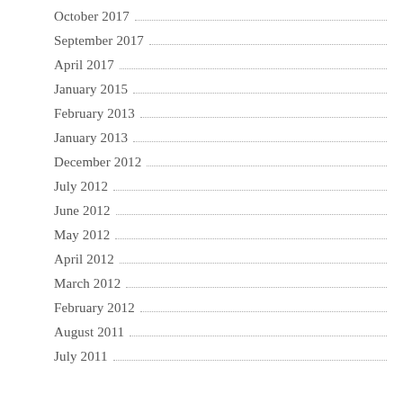October 2017
September 2017
April 2017
January 2015
February 2013
January 2013
December 2012
July 2012
June 2012
May 2012
April 2012
March 2012
February 2012
August 2011
July 2011